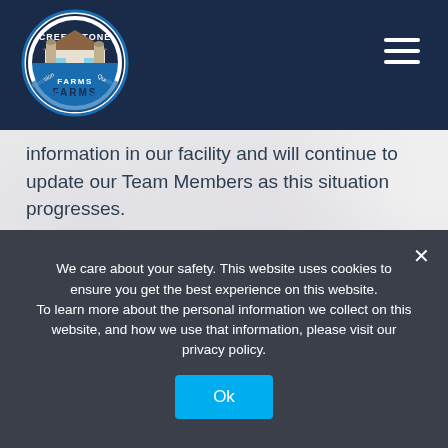[Figure (logo): Creekstone Farms circular logo with barn illustration, text 'Precision Quality' and 'Farms']
information in our facility and will continue to update our Team Members as this situation progresses.
Operations
Protecting our business operations is also extremely
We care about your safety. This website uses cookies to ensure you get the best experience on this website. To learn more about the personal information we collect on this website, and how we use that information, please visit our privacy policy.